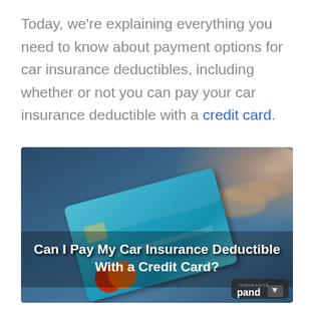Today, we're explaining everything you need to know about payment options for car insurance deductibles, including whether or not you can pay your car insurance deductible with a credit card.
[Figure (photo): Photo of a hand holding a blue credit card with Mastercard logo circles (red and orange). White overlay text reads 'Can I Pay My Car Insurance Deductible With a Credit Card?' with Insurance Panda logo in bottom right corner.]